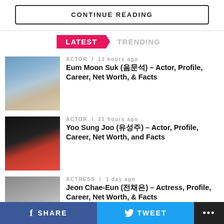CONTINUE READING
LATEST  TRENDING
[Figure (photo): Headshot of Eum Moon Suk, Korean actor]
ACTOR / 11 hours ago
Eum Moon Suk (음문석) – Actor, Profile, Career, Net Worth, & Facts
[Figure (photo): Headshot of Yoo Sung Joo, Korean actor in red shirt]
ACTOR / 21 hours ago
Yoo Sung Joo (유성주) – Actor, Profile, Career, Net Worth, and Facts
[Figure (photo): Headshot of Jeon Chae-Eun, Korean actress]
ACTRESS / 1 day ago
Jeon Chae-Eun (전채은) – Actress, Profile, Career, Net Worth, & Facts
SHARE  TWEET  ...